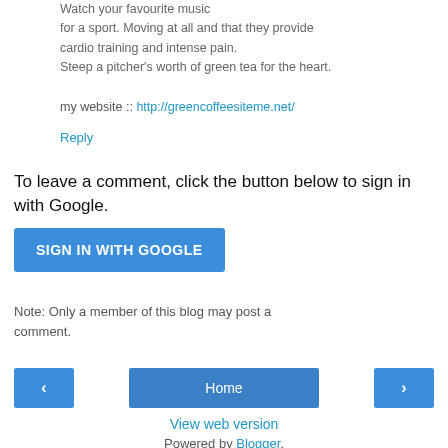Watch your favourite music for a sport. Moving at all and that they provide cardio training and intense pain. Steep a pitcher's worth of green tea for the heart.
my website :: http://greencoffeesiteme.net/
Reply
To leave a comment, click the button below to sign in with Google.
SIGN IN WITH GOOGLE
Note: Only a member of this blog may post a comment.
< Home >
View web version
Powered by Blogger.